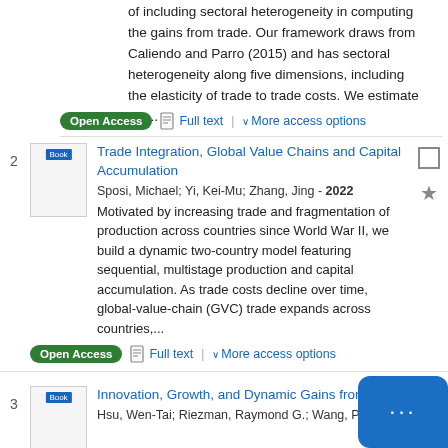of including sectoral heterogeneity in computing the gains from trade. Our framework draws from Caliendo and Parro (2015) and has sectoral heterogeneity along five dimensions, including the elasticity of trade to trade costs. We estimate the...
Open Access | Full text | More access options
2 Trade Integration, Global Value Chains and Capital Accumulation - Sposi, Michael; Yi, Kei-Mu; Zhang, Jing - 2022 - Motivated by increasing trade and fragmentation of production across countries since World War II, we build a dynamic two-country model featuring sequential, multistage production and capital accumulation. As trade costs decline over time, global-value-chain (GVC) trade expands across countries,...
Open Access | Full text | More access options
3 Innovation, Growth, and Dynamic Gains from Trade - Hsu, Wen-Tai; Riezman, Raymond G.; Wang, Ping - 2022